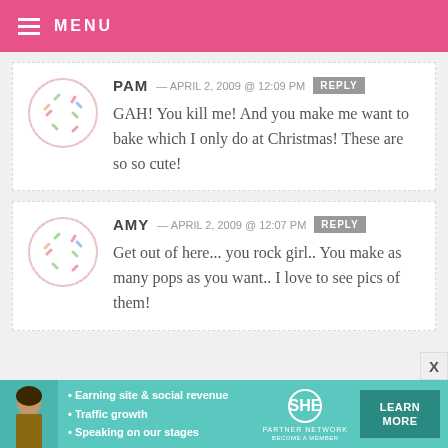MENU
PAM — APRIL 2, 2009 @ 12:09 PM  REPLY
GAH! You kill me! And you make me want to bake which I only do at Christmas! These are so so cute!
AMY — APRIL 2, 2009 @ 12:07 PM  REPLY
Get out of here... you rock girl.. You make as many pops as you want.. I love to see pics of them!
[Figure (infographic): SHE Partner Network advertisement banner with photo of woman, bullet points about earning site, traffic growth, speaking on stages, and a Learn More button]